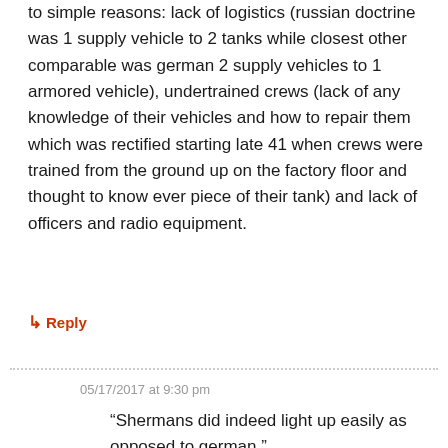to simple reasons: lack of logistics (russian doctrine was 1 supply vehicle to 2 tanks while closest other comparable was german 2 supply vehicles to 1 armored vehicle), undertrained crews (lack of any knowledge of their vehicles and how to repair them which was rectified starting late 41 when crews were trained from the ground up on the factory floor and thought to know ever piece of their tank) and lack of officers and radio equipment.
↳ Reply
05/17/2017 at 9:30 pm
“Shermans did indeed light up easily as opposed to german,”